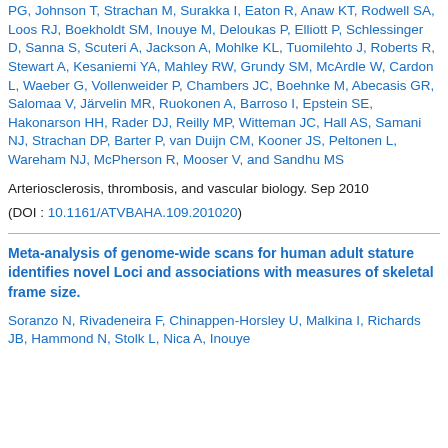KT, Rodwell SA, Loos RJ, Boekholdt SM, Inouye M, Deloukas P, Elliott P, Schlessinger D, Sanna S, Scuteri A, Jackson A, Mohlke KL, Tuomilehto J, Roberts R, Stewart A, Kesaniemi YA, Mahley RW, Grundy SM, McArdle W, Cardon L, Waeber G, Vollenweider P, Chambers JC, Boehnke M, Abecasis GR, Salomaa V, Järvelin MR, Ruokonen A, Barroso I, Epstein SE, Hakonarson HH, Rader DJ, Reilly MP, Witteman JC, Hall AS, Samani NJ, Strachan DP, Barter P, van Duijn CM, Kooner JS, Peltonen L, Wareham NJ, McPherson R, Mooser V, and Sandhu MS
Arteriosclerosis, thrombosis, and vascular biology. Sep 2010
(DOI : 10.1161/ATVBAHA.109.201020)
Meta-analysis of genome-wide scans for human adult stature identifies novel Loci and associations with measures of skeletal frame size.
Soranzo N, Rivadeneira F, Chinappen-Horsley U, Malkina I, Richards JB, Hammond N, Stolk L, Nica A, Inouye